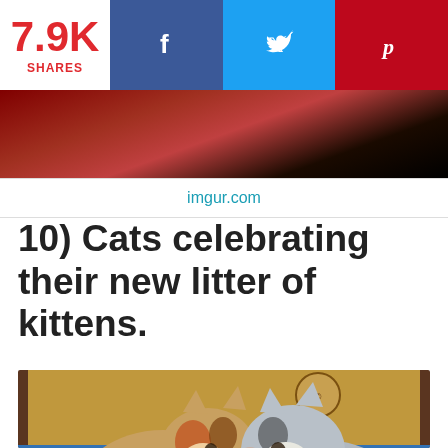[Figure (infographic): Social share bar with 7.9K shares count in red, and three social media buttons: Facebook (dark blue with f icon), Twitter (light blue with bird icon), Pinterest (red with p icon)]
[Figure (photo): Partially visible photo at top showing dark red and black background, cropped at top]
imgur.com
10) Cats celebrating their new litter of kittens.
[Figure (photo): Two cats sitting together in a cardboard box on a blue surface, appearing to nuzzle each other. A calico cat on the left and a grey/white cat on the right. A Caribou Coffee logo is visible on the box behind them.]